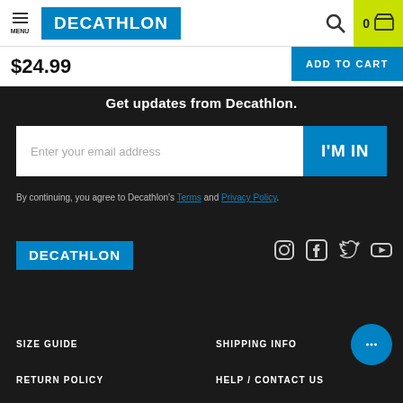[Figure (screenshot): Decathlon website header with menu, logo, search and cart icons]
$24.99
ADD TO CART
Get updates from Decathlon.
Enter your email address
I'M IN
By continuing, you agree to Decathlon's Terms and Privacy Policy.
[Figure (logo): Decathlon logo in blue box]
[Figure (illustration): Social media icons: Instagram, Facebook, Twitter, YouTube]
[Figure (illustration): Chat bubble icon]
SIZE GUIDE
SHIPPING INFO
RETURN POLICY
HELP / CONTACT US